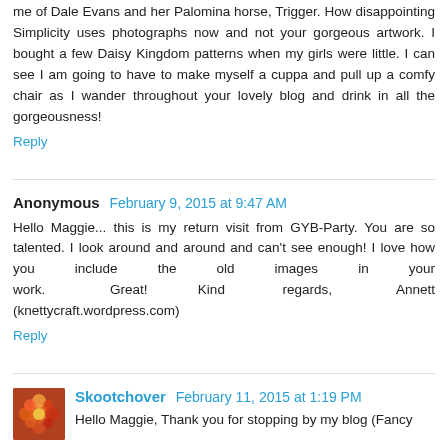me of Dale Evans and her Palomina horse, Trigger. How disappointing Simplicity uses photographs now and not your gorgeous artwork. I bought a few Daisy Kingdom patterns when my girls were little. I can see I am going to have to make myself a cuppa and pull up a comfy chair as I wander throughout your lovely blog and drink in all the gorgeousness!
Reply
Anonymous February 9, 2015 at 9:47 AM
Hello Maggie... this is my return visit from GYB-Party. You are so talented. I look around and around and can't see enough! I love how you include the old images in your work. Great! Kind regards, Annett (knettycraft.wordpress.com)
Reply
Skootchover February 11, 2015 at 1:19 PM
Hello Maggie, Thank you for stopping by my blog (Fancy